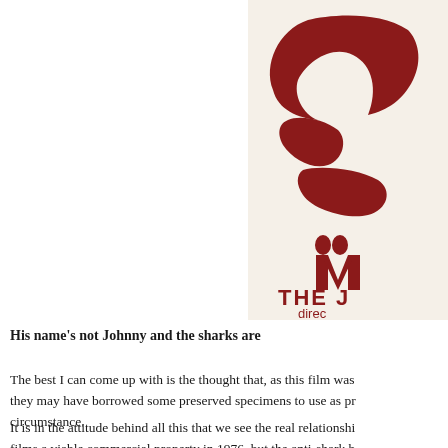[Figure (logo): Partial view of a movie poster or logo featuring a dark red/maroon shark silhouette graphic with stylized text reading 'THE J' and 'direc' partially visible, on a cream/off-white background.]
His name's not Johnny and the sharks are
The best I can come up with is the thought that, as this film was they may have borrowed some preserved specimens to use as pr circumstance.
It is in the attitude behind all this that we see the real relationshi films a viable commercial property in 1976, but the anti-shark b